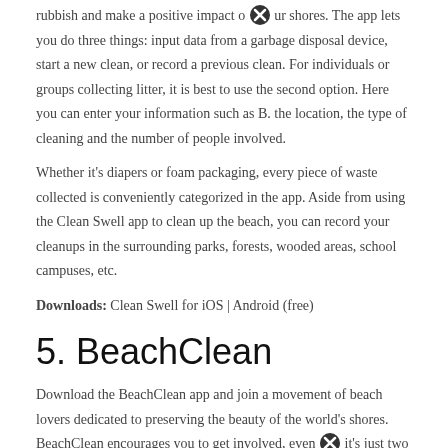rubbish and make a positive impact on our shores. The app lets you do three things: input data from a garbage disposal device, start a new clean, or record a previous clean. For individuals or groups collecting litter, it is best to use the second option. Here you can enter your information such as B. the location, the type of cleaning and the number of people involved.
Whether it's diapers or foam packaging, every piece of waste collected is conveniently categorized in the app. Aside from using the Clean Swell app to clean up the beach, you can record your cleanups in the surrounding parks, forests, wooded areas, school campuses, etc.
Downloads: Clean Swell for iOS | Android (free)
5. BeachClean
Download the BeachClean app and join a movement of beach lovers dedicated to preserving the beauty of the world's shores. BeachClean encourages you to get involved, even if it's just two minutes. That home Tab